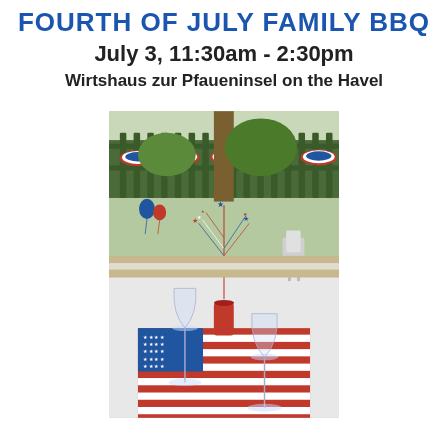FOURTH OF JULY FAMILY BBQ
July 3, 11:30am - 2:30pm
Wirtshaus zur Pfaueninsel on the Havel
[Figure (photo): Outdoor BBQ table set with an American flag tablecloth and red, white, and blue star decorations as a centerpiece, wine glasses on the table, patriotic bunting on iron fence in the background, trees and open-air seating visible.]